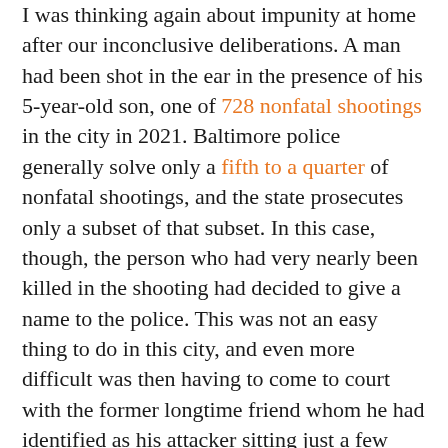I was thinking again about impunity at home after our inconclusive deliberations. A man had been shot in the ear in the presence of his 5-year-old son, one of 728 nonfatal shootings in the city in 2021. Baltimore police generally solve only a fifth to a quarter of nonfatal shootings, and the state prosecutes only a subset of that subset. In this case, though, the person who had very nearly been killed in the shooting had decided to give a name to the police. This was not an easy thing to do in this city, and even more difficult was then having to come to court with the former longtime friend whom he had identified as his attacker sitting just a few feet away, and tell the story again, to an appraising jury and aggressive defense lawyer.
The next morning, back in the jury room, I tried, haltingly, to articulate my thoughts about Clanton's decision to testify and the weight it seemed to deserve, given the difficulty in taking that step and the other evidence that corroborated his account.
But the jury was still stuck in the same divide it had been in the previous day. With seemingly little to gain from more discussion, we watched more of the camera footage from